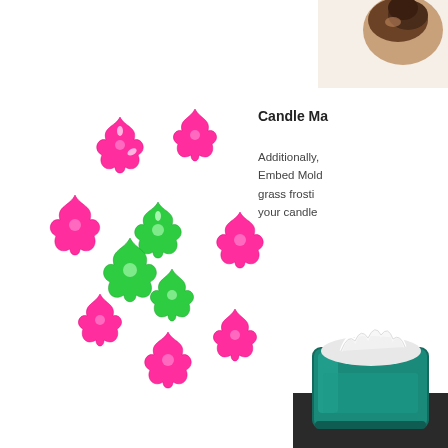[Figure (photo): Partial photo of a decorative cupcake or candle topper visible in top-right corner]
[Figure (photo): Collection of star/flower-shaped wax embed molds in pink (hot pink) and green colors scattered on white background]
Candle Ma
Additionally, Embed Mold grass frosti your candle
[Figure (photo): Bottom-right: teal/green candle jar with white wax frosting decoration on top, sitting on dark surface]